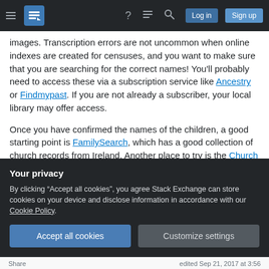Stack Exchange navigation bar with hamburger menu, logo, help, chat, search, Log in, Sign up buttons
images. Transcription errors are not uncommon when online indexes are created for censuses, and you want to make sure that you are searching for the correct names! You'll probably need to access these via a subscription service like Ancestry or Findmypast. If you are not already a subscriber, your local library may offer access.
Once you have confirmed the names of the children, a good starting point is FamilySearch, which has a good collection of church records from Ireland. Another place to try is the Church Records on the
Your privacy
By clicking “Accept all cookies”, you agree Stack Exchange can store cookies on your device and disclose information in accordance with our Cookie Policy.
Accept all cookies | Customize settings
Share | edited Sep 21, 2017 at 3:56